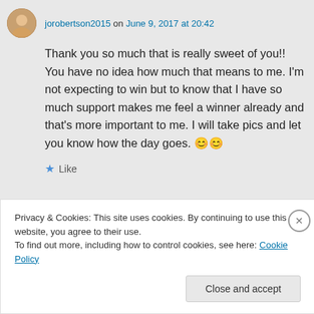jorobertson2015 on June 9, 2017 at 20:42
Thank you so much that is really sweet of you!! You have no idea how much that means to me. I'm not expecting to win but to know that I have so much support makes me feel a winner already and that's more important to me. I will take pics and let you know how the day goes. 😊😊
★ Like
Privacy & Cookies: This site uses cookies. By continuing to use this website, you agree to their use. To find out more, including how to control cookies, see here: Cookie Policy
Close and accept